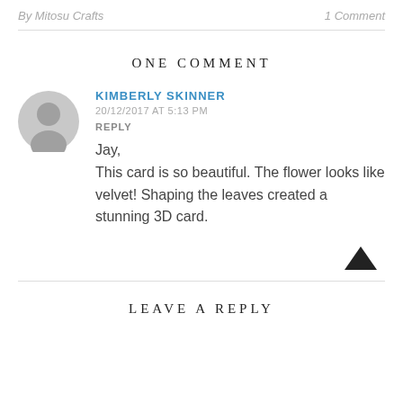By Mitosu Crafts    1 Comment
ONE COMMENT
KIMBERLY SKINNER
20/12/2017 AT 5:13 PM
REPLY

Jay,
This card is so beautiful. The flower looks like velvet! Shaping the leaves created a stunning 3D card.
LEAVE A REPLY